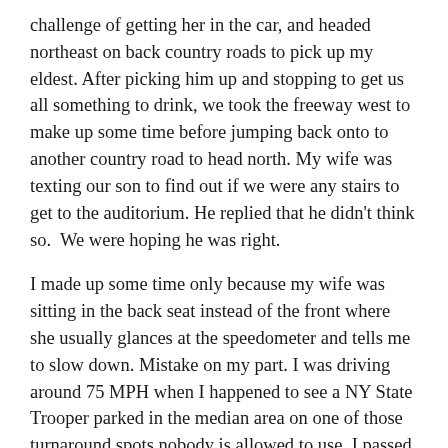challenge of getting her in the car, and headed northeast on back country roads to pick up my eldest. After picking him up and stopping to get us all something to drink, we took the freeway west to make up some time before jumping back onto to another country road to head north. My wife was texting our son to find out if we were any stairs to get to the auditorium. He replied that he didn't think so.  We were hoping he was right.
I made up some time only because my wife was sitting in the back seat instead of the front where she usually glances at the speedometer and tells me to slow down. Mistake on my part. I was driving around 75 MPH when I happened to see a NY State Trooper parked in the median area on one of those turnaround spots nobody is allowed to use. I passed by him, quickly slowing down as I did. I glanced in the rear view mirror only to see him pull out and  on to the freeway, accelerating towards us. And then came the lights. Great. We are already